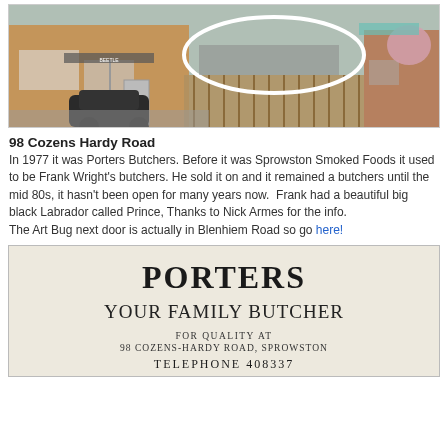[Figure (photo): Street view photo of 98 Cozens Hardy Road showing a brick building with a white ellipse/circle drawn on it highlighting a particular shop front. A black car is parked in front. Trees and houses visible in background.]
98 Cozens Hardy Road
In 1977 it was Porters Butchers. Before it was Sprowston Smoked Foods it used to be Frank Wright's butchers. He sold it on and it remained a butchers until the mid 80s, it hasn't been open for many years now.  Frank had a beautiful big black Labrador called Prince, Thanks to Nick Armes for the info.
The Art Bug next door is actually in Blenhiem Road so go here!
[Figure (photo): Scanned newspaper or printed advertisement for Porters Your Family Butcher, FOR QUALITY AT 98 COZENS-HARDY ROAD, SPROWSTON, TELEPHONE 408337]